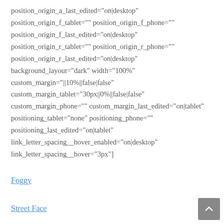position_origin_a_last_edited="on|desktop" position_origin_f_tablet="" position_origin_f_phone="" position_origin_f_last_edited="on|desktop" position_origin_r_tablet="" position_origin_r_phone="" position_origin_r_last_edited="on|desktop" background_layout="dark" width="100%" custom_margin="||10%||false|false" custom_margin_tablet="30px||0%||false|false" custom_margin_phone="" custom_margin_last_edited="on|tablet" positioning_tablet="none" positioning_phone="" positioning_last_edited="on|tablet" link_letter_spacing__hover_enabled="on|desktop" link_letter_spacing__hover="3px"]
Foggy
Street Face